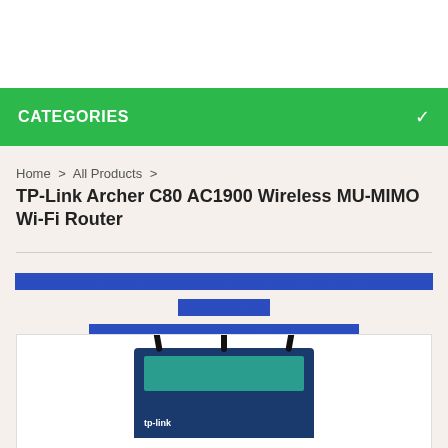CATEGORIES
Home > All Products >
TP-Link Archer C80 AC1900 Wireless MU-MIMO Wi-Fi Router
ปปปปปปปปปป ปปปปป ปปปปปปปปปป ปปปปป ปปปป ปปป ปปป ปปปปปปปปป ปปปปปปปป ปปป ปปปปปปปป ปปปปปปป ปปปป ป  ปปปปปปปปปปป
[Figure (photo): TP-Link Archer C80 router product box image, showing the router packaging in dark blue with teal/green accent color and the tp-link logo]